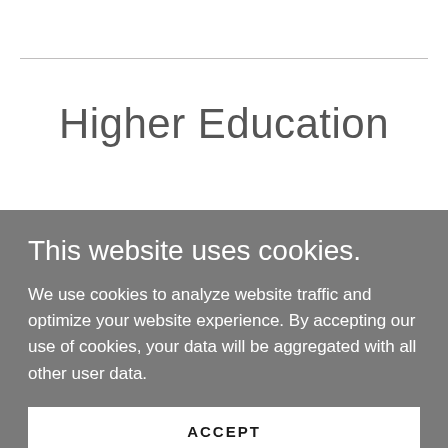Higher Education
This website uses cookies.
We use cookies to analyze website traffic and optimize your website experience. By accepting our use of cookies, your data will be aggregated with all other user data.
ACCEPT